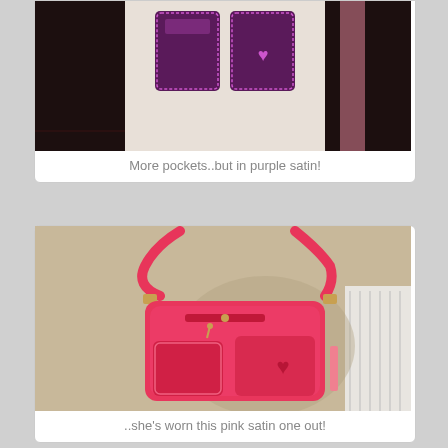[Figure (photo): Purple satin pockets on a dark background, partially cropped at top of page]
More pockets..but in purple satin!
[Figure (photo): A bright pink/coral satin handbag with multiple pockets and a shoulder strap, hanging on a wall]
..she's worn this pink satin one out!
[Figure (photo): Partially visible red/coral bag strap with gold hardware, bottom of page cropped]